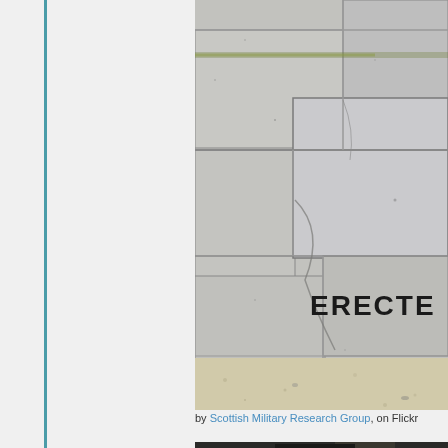[Figure (photo): Close-up photograph of a granite stone monument or war memorial with the word 'ERECTED' inscribed on it. The stone blocks are grey granite with mortar joints, and there is sandy ground at the base.]
by Scottish Military Research Group, on Flickr
[Figure (photo): Partial view of another dark stone monument or memorial, visible only at the very bottom of the page.]